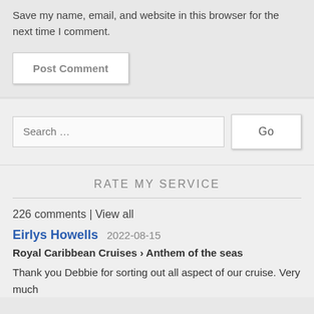Save my name, email, and website in this browser for the next time I comment.
Post Comment
Search …
Go
RATE MY SERVICE
226 comments | View all
Eirlys Howells 2022-08-15
Royal Caribbean Cruises › Anthem of the seas
Thank you Debbie for sorting out all aspect of our cruise. Very much